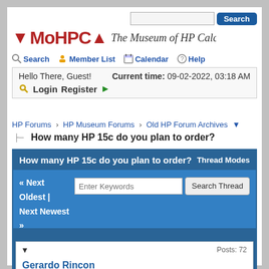MoHPCA — The Museum of HP Calculators
Hello There, Guest! Current time: 09-02-2022, 03:18 AM
Login  Register
HP Forums › HP Museum Forums › Old HP Forum Archives
How many HP 15c do you plan to order?
How many HP 15c do you plan to order?
« Next Oldest | Next Newest »
▼
Gerardo Rincon
Posts: 72